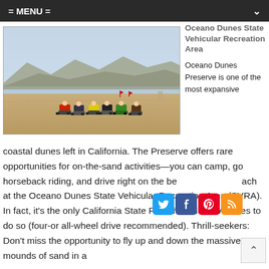= MENU =
[Figure (photo): Group of ATV riders on a wide sandy beach with mountains and hazy sky in the background. Several quad bikes are lined up and riding across the flat sand near the water's edge. Red flags are visible in the distance.]
Oceano Dunes State Vehicular Recreation Area
Oceano Dunes Preserve is one of the most expansive coastal dunes left in California. The Preserve offers rare opportunities for on-the-sand activities—you can camp, go horseback riding, and drive right on the beach at the Oceano Dunes State Vehicular Recreation Area (SVRA). In fact, it's the only California State Park that allows vehicles to do so (four-or all-wheel drive recommended). Thrill-seekers: Don't miss the opportunity to fly up and down the massive mounds of sand in a